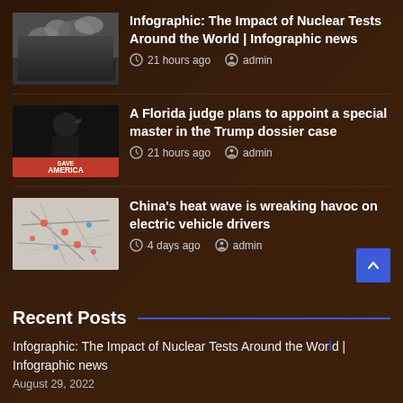Infographic: The Impact of Nuclear Tests Around the World | Infographic news — 21 hours ago  admin
A Florida judge plans to appoint a special master in the Trump dossier case — 21 hours ago  admin
China's heat wave is wreaking havoc on electric vehicle drivers — 4 days ago  admin
Recent Posts
Infographic: The Impact of Nuclear Tests Around the World | Infographic news
August 29, 2022